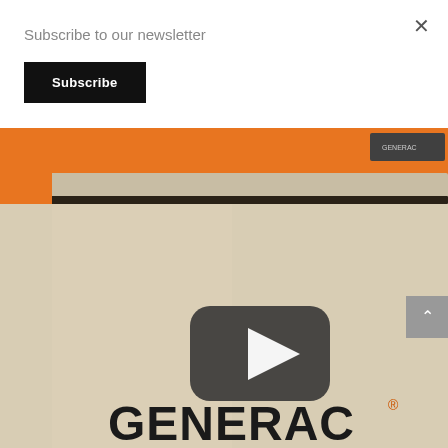Subscribe to our newsletter
Subscribe
×
[Figure (screenshot): Close-up photo of a Generac generator showing the beige/cream colored metal casing with an orange accent panel at the top. A YouTube play button icon is overlaid in the center of the image. The GENERAC brand name is visible at the bottom in large bold black text with an orange registered trademark symbol.]